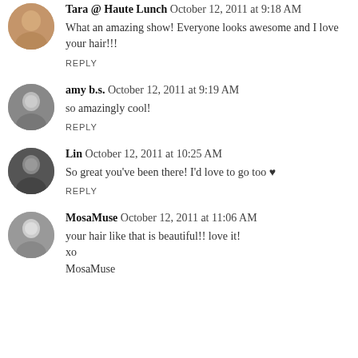Tara @ Haute Lunch October 12, 2011 at 9:18 AM
What an amazing show! Everyone looks awesome and I love your hair!!!
REPLY
amy b.s. October 12, 2011 at 9:19 AM
so amazingly cool!
REPLY
Lin October 12, 2011 at 10:25 AM
So great you’ve been there! I’d love to go too ♥
REPLY
MosaMuse October 12, 2011 at 11:06 AM
your hair like that is beautiful!! love it!
xo
MosaMuse